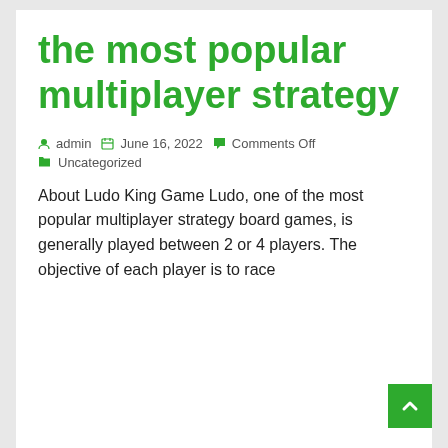the most popular multiplayer strategy
admin  June 16, 2022  Comments Off  Uncategorized
About Ludo King Game Ludo, one of the most popular multiplayer strategy board games, is generally played between 2 or 4 players. The objective of each player is to race